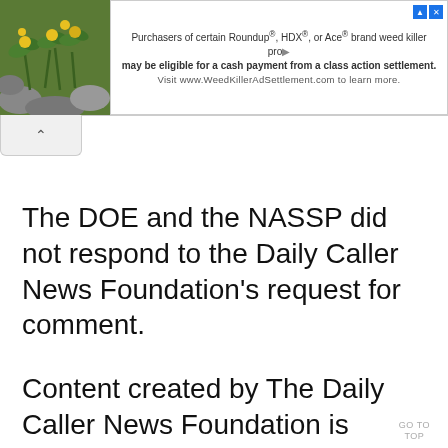[Figure (infographic): Advertisement banner with plant image on left and text about Roundup, HDX, or Ace brand weed killer class action settlement on right. Text: 'Purchasers of certain Roundup®, HDX®, or Ace® brand weed killer products may be eligible for a cash payment from a class action settlement. Visit www.WeedKillerAdSettlement.com to learn more.']
The DOE and the NASSP did not respond to the Daily Caller News Foundation's request for comment.
Content created by The Daily Caller News Foundation is available without charge to any eligible news publisher that can provide a large audience. For licensing opportunities of our original content,